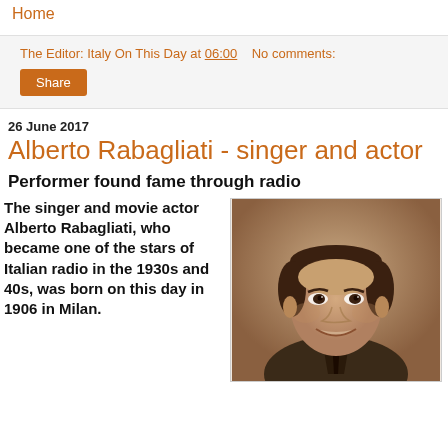Home
The Editor: Italy On This Day at 06:00   No comments:
Share
26 June 2017
Alberto Rabagliati - singer and actor
Performer found fame through radio
The singer and movie actor Alberto Rabagliati, who became one of the stars of Italian radio in the 1930s and 40s, was born on this day in 1906 in Milan.
[Figure (photo): Sepia-toned portrait photograph of Alberto Rabagliati, a man smiling, wearing a suit, with slicked-back dark hair]